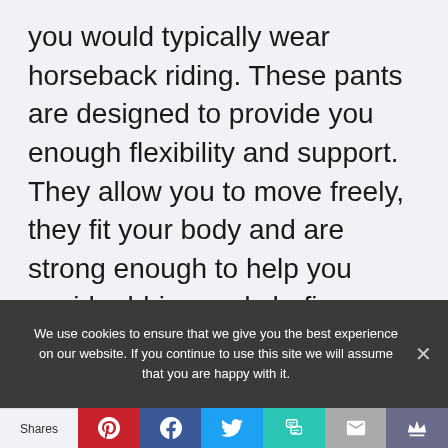you would typically wear horseback riding. These pants are designed to provide you enough flexibility and support. They allow you to move freely, they fit your body and are strong enough to help you avoid rubbing and chafing.
We use cookies to ensure that we give you the best experience on our website. If you continue to use this site we will assume that you are happy with it.
Shares